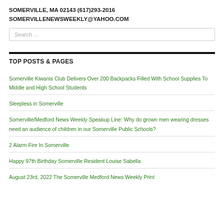SOMERVILLE, MA 02143 (617)293-2016
SOMERVILLENEWSWEEKLY@YAHOO.COM
Search …
TOP POSTS & PAGES
Somerville Kiwanis Club Delivers Over 200 Backpacks Filled With School Supplies To Middle and High School Students
Sleepless in Somerville
Somerville/Medford News Weekly Speakup Line: Why do grown men wearing dresses need an audience of children in our Somerville Public Schools?
2 Alarm Fire In Somerville
Happy 97th Birthday Somerville Resident Louise Sabella
August 23rd, 2022 The Somerville Medford News Weekly Print